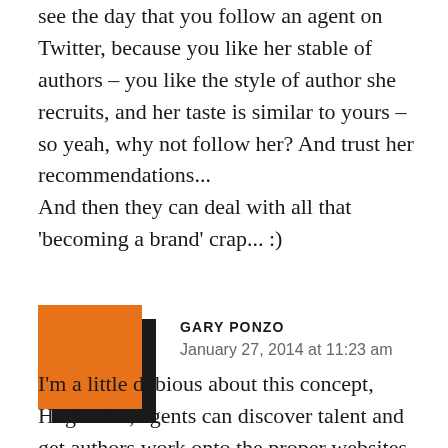see the day that you follow an agent on Twitter, because you like her stable of authors – you like the style of author she recruits, and her taste is similar to yours – so yeah, why not follow her? And trust her recommendations...
And then they can deal with all that 'becoming a brand' crap... :)
[Figure (illustration): Orange square avatar icon with dark shadow offset, representing user Gary Ponzo]
GARY PONZO
January 27, 2014 at 11:23 am
I'm a little dubious about this concept, Hugh. Yes, agents can discover talent and get authors work onto the proper websites and distribution...